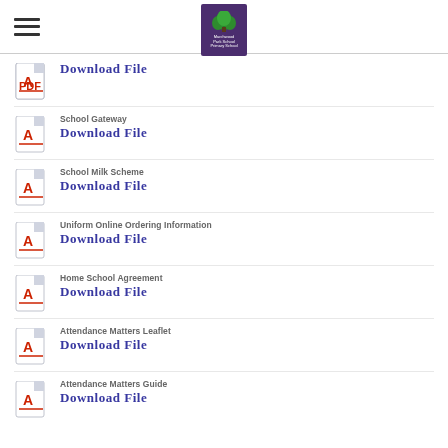Marchwood Park School Primary School
Download File
School Gateway
Download File
School Milk Scheme
Download File
Uniform Online Ordering Information
Download File
Home School Agreement
Download File
Attendance Matters Leaflet
Download File
Attendance Matters Guide
Download File